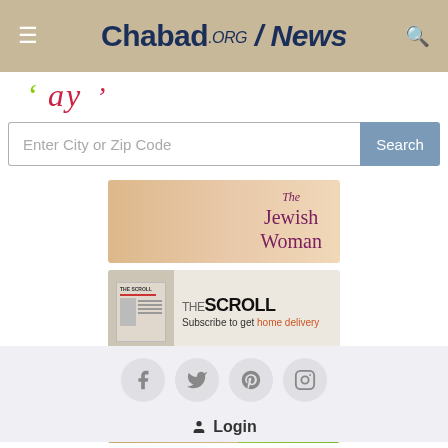Chabad.org/News
[Figure (screenshot): Partial decorative banner with cursive red text partially visible]
Enter City or Zip Code
[Figure (illustration): The Jewish Woman banner ad with pink serif text on peach gradient background]
[Figure (illustration): THE SCROLL banner ad - Subscribe to get home delivery]
[Figure (photo): Kids! banner ad showing a child smiling with green background and pink italic text]
[Figure (other): Social media icons: Facebook, Twitter, Pinterest, Instagram in grey circles]
Login